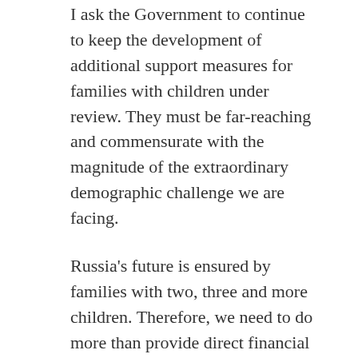I ask the Government to continue to keep the development of additional support measures for families with children under review. They must be far-reaching and commensurate with the magnitude of the extraordinary demographic challenge we are facing.
Russia's future is ensured by families with two, three and more children. Therefore, we need to do more than provide direct financial support – we need to target and direct the healthcare system, education, and all areas that determine the quality of people's lives towards the needs of families with children.
This problem is addressed, among other approaches, by the national social initiatives,